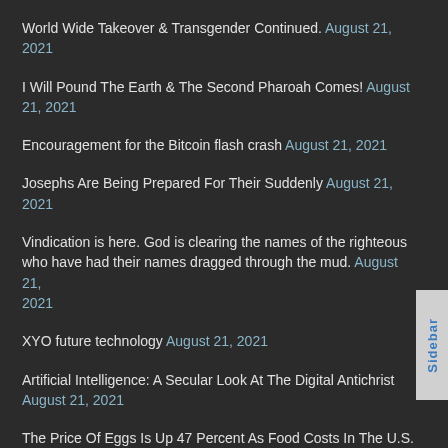World Wide Takeover & Transgender Continued. August 21, 2021
I Will Pound The Earth & The Second Pharoah Comes! August 21, 2021
Encouragement for the Bitcoin flash crash August 21, 2021
Josephs Are Being Prepared For Their Suddenly August 21, 2021
Vindication is here. God is clearing the names of the righteous who have had their names dragged through the mud. August 21, 2021
XYO future technology August 21, 2021
Artificial Intelligence: A Secular Look At The Digital Antichrist August 21, 2021
The Price Of Eggs Is Up 47 Percent As Food Costs In The U.S. Spiral Out Of Control August 21, 2021